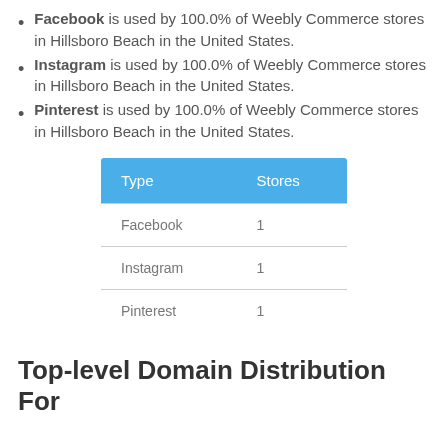Facebook is used by 100.0% of Weebly Commerce stores in Hillsboro Beach in the United States.
Instagram is used by 100.0% of Weebly Commerce stores in Hillsboro Beach in the United States.
Pinterest is used by 100.0% of Weebly Commerce stores in Hillsboro Beach in the United States.
| Type | Stores |
| --- | --- |
| Facebook | 1 |
| Instagram | 1 |
| Pinterest | 1 |
Top-level Domain Distribution For